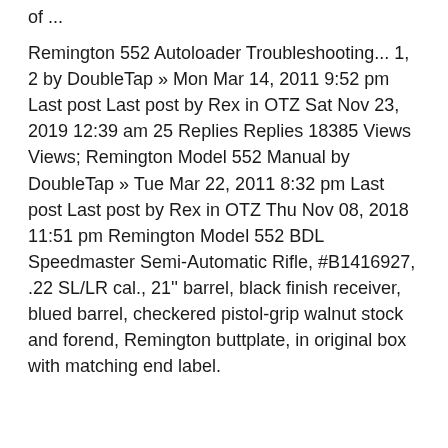of ...
Remington 552 Autoloader Troubleshooting... 1, 2 by DoubleTap » Mon Mar 14, 2011 9:52 pm Last post Last post by Rex in OTZ Sat Nov 23, 2019 12:39 am 25 Replies Replies 18385 Views Views; Remington Model 552 Manual by DoubleTap » Tue Mar 22, 2011 8:32 pm Last post Last post by Rex in OTZ Thu Nov 08, 2018 11:51 pm Remington Model 552 BDL Speedmaster Semi-Automatic Rifle, #B1416927, .22 SL/LR cal., 21'' barrel, black finish receiver, blued barrel, checkered pistol-grip walnut stock and forend, Remington buttplate, in original box with matching end label.